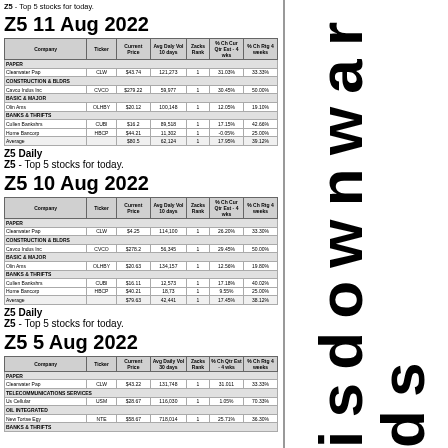Z5 - Top 5 stocks for today.
Z5 11 Aug 2022
| Company | Ticker | Current Price | Avg Daily Vol 10 days | Zacks Rank | % Ch Cur Qtr Est - 4 wks | % Ch Rtg 4 weeks |
| --- | --- | --- | --- | --- | --- | --- |
| PAPER |  |  |  |  |  |  |
| Clearwater Pap | CLW | $43.74 | 121,273 | 1 | 31.03% | 33.33% |
| CONSTRUCTION & BLDRS |  |  |  |  |  |  |
| Cavco Indus Inc | CVCO | $279.22 | 59,977 | 1 | 30.45% | 50.00% |
| BASIC & MAJOR |  |  |  |  |  |  |
| Olin Ams | OLHBY | $20.12 | 100,148 | 1 | 12.05% | 19.10% |
| BANKS & THRIFTS |  |  |  |  |  |  |
| Cullen Bankshrs | CBI | $16.2 | 89,518 | 1 | 17.15% | 42.66% |
| Home Bancorp | HBCP | $44.21 | 11,302 | 1 | -0.05% | 25.00% |
| Average |  | $80.5 | 62,124 | 1 | 17.95% | 39.12% |
Z5 Daily
Z5 - Top 5 stocks for today.
Z5 10 Aug 2022
| Company | Ticker | Current Price | Avg Daily Vol 10 days | Zacks Rank | % Ch Cur Qtr Est - 4 wks | % Ch Rtg 4 weeks |
| --- | --- | --- | --- | --- | --- | --- |
| PAPER |  |  |  |  |  |  |
| Clearwater Pap | CLW | $4.25 | 114,100 | 1 | 26.20% | 33.30% |
| CONSTRUCTION & BLDRS |  |  |  |  |  |  |
| Cavco Indus Inc | CVCO | $278.2 | 56,345 | 1 | 29.45% | 50.00% |
| BASIC & MAJOR |  |  |  |  |  |  |
| Olin Ams | OLHBY | $20.63 | 134,157 | 1 | 12.56% | 19.80% |
| BANKS & THRIFTS |  |  |  |  |  |  |
| Cullen Bankshrs | CUBI | $16.11 | 12,573 | 1 | 17.18% | 40.02% |
| Home Bancorp | HBCP | $40.21 | 18,73 | 1 | 9.55% | 25.00% |
| Average |  | $79.63 | 42,441 | 1 | 17.45% | 38.12% |
Z5 Daily
Z5 - Top 5 stocks for today.
Z5 5 Aug 2022
| Company | Ticker | Current Price | Avg Daily Vol 30 days | Zacks Rank | % Ch Qtr Est - 4 wks | % Ch Rtg 4 weeks |
| --- | --- | --- | --- | --- | --- | --- |
| PAPER |  |  |  |  |  |  |
| Clearwater Pap | CLW | $43.22 | 131,748 | 1 | 31.011 | 33.33% |
| TELECOMMUNICATIONS SERVICES |  |  |  |  |  |  |
| Us Cellular | USM | $28.67 | 116,030 | 1 | 1.05% | 70.33% |
| OIL INTEGRATED |  |  |  |  |  |  |
| New Tortse Egy | NTE | $58.67 | 718,014 | 1 | 25.71% | 36.30% |
| BANKS & THRIFTS |  |  |  |  |  |  |